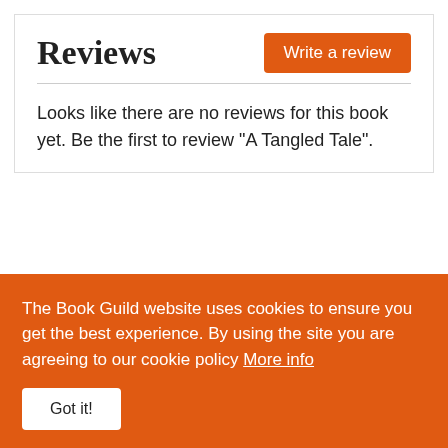Reviews
Looks like there are no reviews for this book yet. Be the first to review "A Tangled Tale".
The Book Guild website uses cookies to ensure you get the best experience. By using the site you are agreeing to our cookie policy More info
Got it!